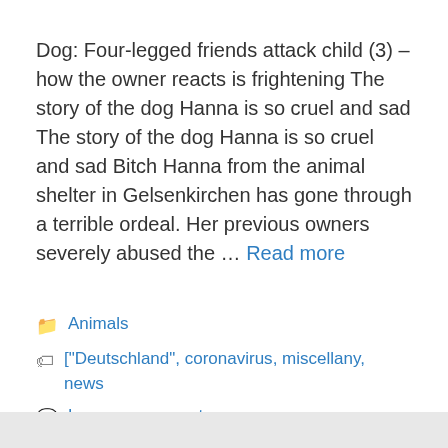Dog: Four-legged friends attack child (3) – how the owner reacts is frightening The story of the dog Hanna is so cruel and sad The story of the dog Hanna is so cruel and sad Bitch Hanna from the animal shelter in Gelsenkirchen has gone through a terrible ordeal. Her previous owners severely abused the … Read more
Animals
["Deutschland", coronavirus, miscellany, news
Leave a comment